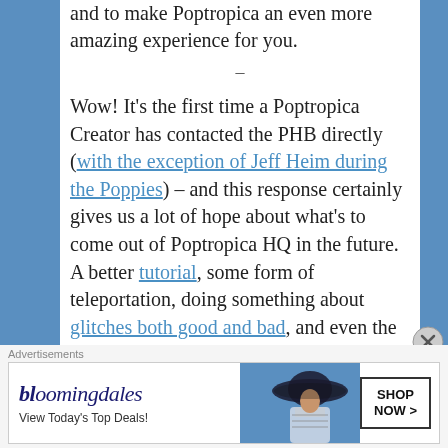and to make Poptropica an even more amazing experience for you.
–
Wow! It's the first time a Poptropica Creator has contacted the PHB directly (with the exception of Jeff Heim during the Poppies) – and this response certainly gives us a lot of hope about what's to come out of Poptropica HQ in the future. A better tutorial, some form of teleportation, doing something about glitches both good and bad, and even the possibility of officializing the Poptropica Wiki are some things Poptropica's currently working on, and that's really awesome to hear. 😀
[Figure (other): Bloomingdale's advertisement banner: 'View Today's Top Deals!' with SHOP NOW > button and image of woman in hat]